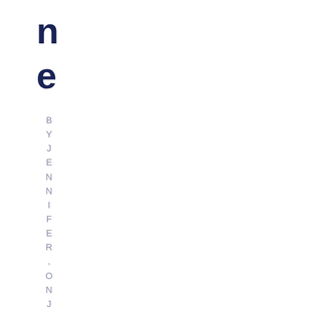n
e
BY JENNIFER, ON JUNE 14TH, 201